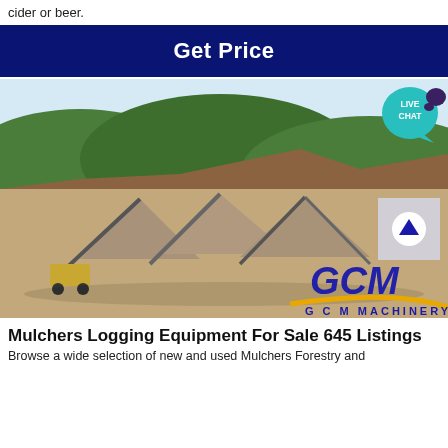cider or beer.
[Figure (other): Dark navy blue banner with bold white text 'Get Price']
[Figure (photo): Quarry/mining site photo showing aggregate piles, conveyor belts, and heavy equipment with green forested hills in background. GCM Machinery logo overlay in bottom right. Live Chat badge in top right corner. Scroll-up button overlay.]
Mulchers Logging Equipment For Sale 645 Listings
Browse a wide selection of new and used Mulchers Forestry and